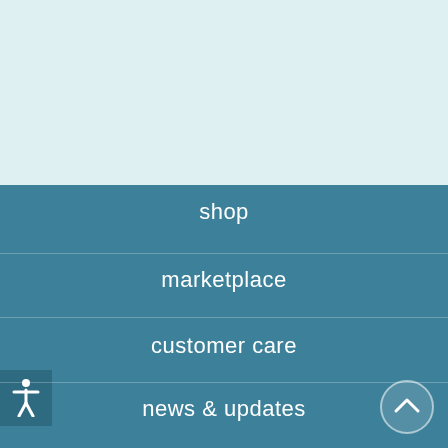[Figure (illustration): Light blue/teal background top section of a website screenshot]
shop
marketplace
customer care
news & updates
[Figure (illustration): Back to top arrow button circle]